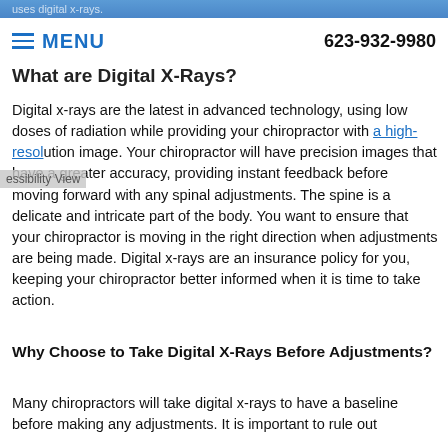uses digital x-rays.
MENU   623-932-9980
What are Digital X-Rays?
Digital x-rays are the latest in advanced technology, using low doses of radiation while providing your chiropractor with a high-resolution image. Your chiropractor will have precision images that have a greater accuracy, providing instant feedback before moving forward with any spinal adjustments. The spine is a delicate and intricate part of the body. You want to ensure that your chiropractor is moving in the right direction when adjustments are being made. Digital x-rays are an insurance policy for you, keeping your chiropractor better informed when it is time to take action.
Why Choose to Take Digital X-Rays Before Adjustments?
Many chiropractors will take digital x-rays to have a baseline before making any adjustments. It is important to rule out